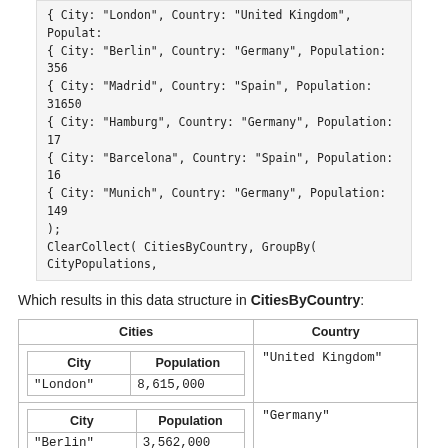{ City: "London", Country: "United Kingdom", Populat:
    { City: "Berlin", Country: "Germany", Population: 356
    { City: "Madrid", Country: "Spain", Population: 31650
    { City: "Hamburg", Country: "Germany", Population: 17
    { City: "Barcelona", Country: "Spain", Population: 16
    { City: "Munich", Country: "Germany", Population: 149
);
ClearCollect( CitiesByCountry, GroupBy( CityPopulations,
Which results in this data structure in CitiesByCountry:
| Cities | Country |
| --- | --- |
| City | Population
"London" | 8,615,000 | "United Kingdom" |
| City | Population
"Berlin" | 3,562,000
"Hamburg" | 1,760,000
"Munich" | 1,494,000 | "Germany" |
| City | Population
"Madrid" | 3,165,000
"Barcelona" | 1,602,000 | "Spain" |